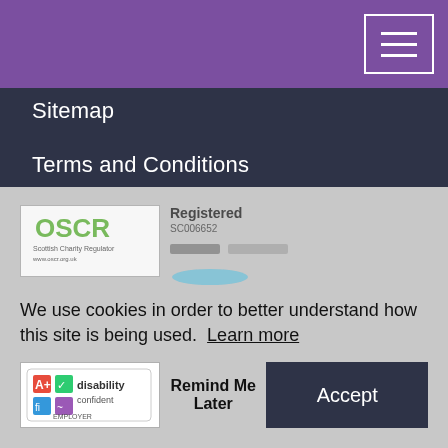[Figure (screenshot): Purple navigation header bar with hamburger menu button (three horizontal lines) in top right corner]
Sitemap
Terms and Conditions
Accessibility Policy
Modern Slavery Statement
Freedom of Information
We use cookies in order to better understand how this site is being used. Learn more
Remind Me Later | Accept